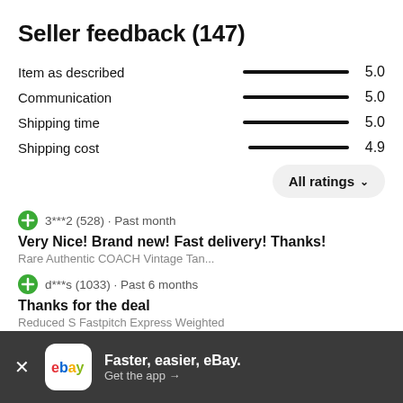Seller feedback (147)
| Category | Bar | Rating |
| --- | --- | --- |
| Item as described | full | 5.0 |
| Communication | full | 5.0 |
| Shipping time | full | 5.0 |
| Shipping cost | partial | 4.9 |
All ratings
3***2 (528) · Past month
Very Nice! Brand new! Fast delivery! Thanks!
Rare Authentic COACH Vintage Tan...
d***s (1033) · Past 6 months
Thanks for the deal
Reduced S Fastpitch Express Weighted
Faster, easier, eBay. Get the app →